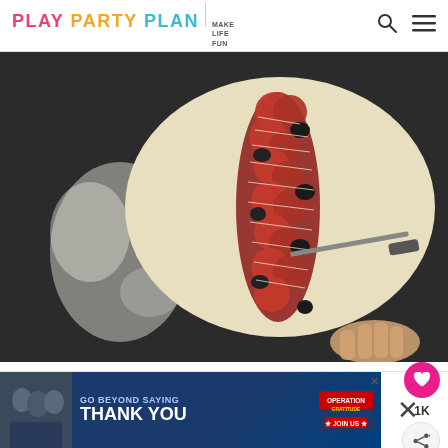PLAY PARTY PLAN | MAKE LIFE FUN
[Figure (photo): Overhead view of pizza dough on a dark floured surface, topped with a center stripe of pepperoni, black olives, and shredded cheese. A hand and knife are visible at the bottom right.]
[Figure (infographic): Advertisement banner: GO BEYOND SAYING THANK YOU – Operation Gratitude JOIN US, with a group photo of people on the left and a close X button.]